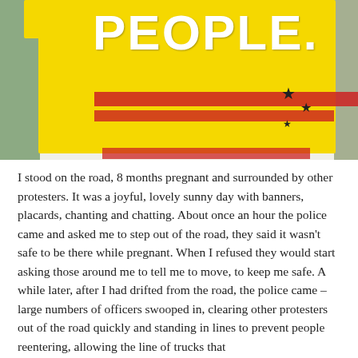[Figure (photo): A yellow protest sign reading 'PEOPLE.' with red banners/stickers and black star symbols overlaid on it, held up by someone at a protest. Green foliage visible at edges.]
I stood on the road, 8 months pregnant and surrounded by other protesters. It was a joyful, lovely sunny day with banners, placards, chanting and chatting. About once an hour the police came and asked me to step out of the road, they said it wasn't safe to be there while pregnant. When I refused they would start asking those around me to tell me to move, to keep me safe. A while later, after I had drifted from the road, the police came – large numbers of officers swooped in, clearing other protesters out of the road quickly and standing in lines to prevent people reentering, allowing the line of trucks that